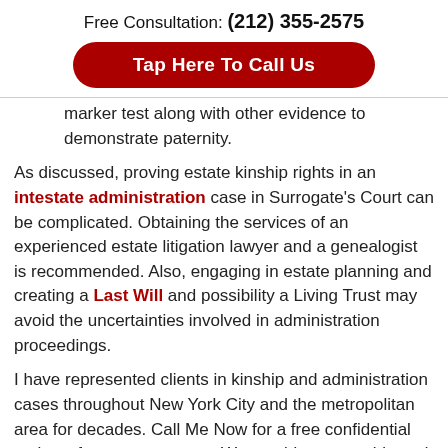Free Consultation: (212) 355-2575
[Figure (other): Red rounded button with white text: Tap Here To Call Us]
marker test along with other evidence to demonstrate paternity.
As discussed, proving estate kinship rights in an intestate administration case in Surrogate’s Court can be complicated. Obtaining the services of an experienced estate litigation lawyer and a genealogist is recommended. Also, engaging in estate planning and creating a Last Will and possibility a Living Trust may avoid the uncertainties involved in administration proceedings.
I have represented clients in kinship and administration cases throughout New York City and the metropolitan area for decades. Call Me Now for a free confidential review of your estate case. We provide reasonable and flexible fee arrangements and personal representation